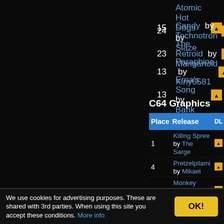15 Atomic Hot Dogs by Slaze
24 Candy by Technotron
23 The Retroid by Manganoid
13 Paraphine by Xiny6581
13 Erna's Song by Barik
C64 Graphics
| Place | Release | DL | CSDb rating |
| --- | --- | --- | --- |
| 1 | Killing Spree by The Sarge | DL |  |
| 4 | Pretzelpilami by Mikael | DL |  |
| 8 | Monkey Business by Honcho | DL |  |
| 14 | Lautrec by Lobo | DL |  |
| 2 | Mature by Electric | DL |  |
| 6 | Mask by Katon | DL |  |
| 16 | Genesis by Almighty God | DL |  |
| 10 | Tjardalen by Twoflower | DL |  |
| 3 | Knight'n Dragons by Fabs | DL |  |
| 9 | Framed by Facet | DL |  |
| 13 | In Orbit of a Dying Sun by Titus | DL |  |
| 18 | Wi-131de Pixels by Rail Slave | DL |  |
We use cookies for advertising purposes. These are shared with 3rd parties. When using this site you accept these conditions. More info